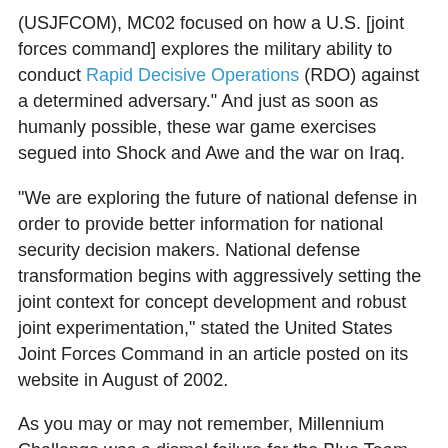(USJFCOM), MC02 focused on how a U.S. [joint forces command] explores the military ability to conduct Rapid Decisive Operations (RDO) against a determined adversary." And just as soon as humanly possible, these war game exercises segued into Shock and Awe and the war on Iraq.
"We are exploring the future of national defense in order to provide better information for national security decision makers. National defense transformation begins with aggressively setting the joint context for concept development and robust joint experimentation," stated the United States Joint Forces Command in an article posted on its website in August of 2002.
As you may or may not remember, Millennium Challenge was a dismal failure for the Blue Team, representing the Joint Forces Command, when the Red Team, representing a dictator closely resembling Saddam Hussein, whupped the Blue Team's arse immediately after the war games started. But that's not my point.
My point is that the Millennium Challenge war games in the